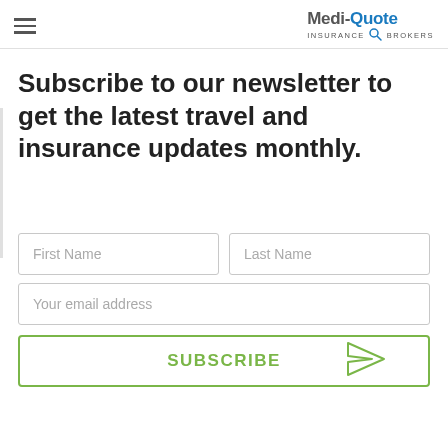Medi-Quote Insurance Brokers
Subscribe to our newsletter to get the latest travel and insurance updates monthly.
[Figure (other): Newsletter subscription form with First Name, Last Name, email address fields and a Subscribe button with paper plane icon]